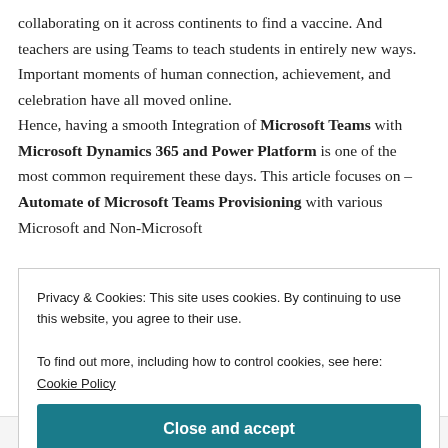collaborating on it across continents to find a vaccine. And teachers are using Teams to teach students in entirely new ways. Important moments of human connection, achievement, and celebration have all moved online.
Hence, having a smooth Integration of Microsoft Teams with Microsoft Dynamics 365 and Power Platform is one of the most common requirement these days. This article focuses on – Automate of Microsoft Teams Provisioning with various Microsoft and Non-Microsoft
Privacy & Cookies: This site uses cookies. By continuing to use this website, you agree to their use.
To find out more, including how to control cookies, see here: Cookie Policy
Close and accept
Follow